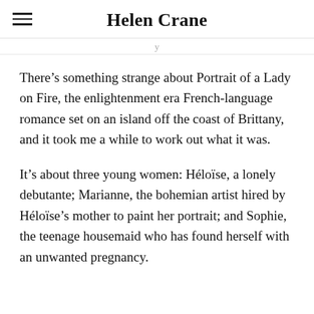Helen Crane
There’s something strange about Portrait of a Lady on Fire, the enlightenment era French-language romance set on an island off the coast of Brittany, and it took me a while to work out what it was.
It’s about three young women: Héloïse, a lonely debutante; Marianne, the bohemian artist hired by Héloïse’s mother to paint her portrait; and Sophie, the teenage housemaid who has found herself with an unwanted pregnancy.